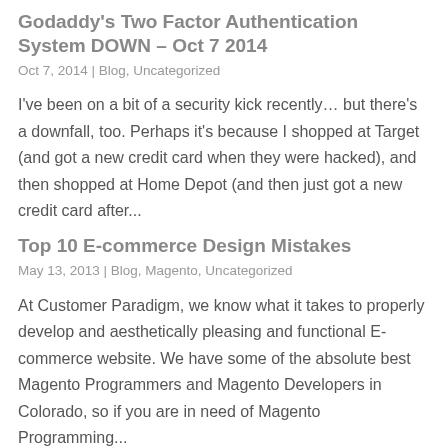Godaddy's Two Factor Authentication System DOWN – Oct 7 2014
Oct 7, 2014 | Blog, Uncategorized
I've been on a bit of a security kick recently…  but there's a downfall, too. Perhaps it's because I shopped at Target (and got a new credit card when they were hacked), and then shopped at Home Depot (and then just got a new credit card after...
Top 10 E-commerce Design Mistakes
May 13, 2013 | Blog, Magento, Uncategorized
At Customer Paradigm, we know what it takes to properly develop and aesthetically pleasing and functional E-commerce website. We have some of the absolute best Magento Programmers and Magento Developers in Colorado, so if you are in need of Magento Programming...
Customer Paradigm is hiring: PHP